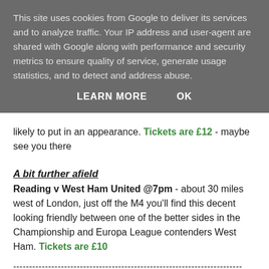This site uses cookies from Google to deliver its services and to analyze traffic. Your IP address and user-agent are shared with Google along with performance and security metrics to ensure quality of service, generate usage statistics, and to detect and address abuse.
LEARN MORE   OK
likely to put in an appearance. Tickets are £12 - maybe see you there
A bit further afield
Reading v West Ham United @7pm - about 30 miles west of London, just off the M4 you'll find this decent looking friendly between one of the better sides in the Championship and Europa League contenders West Ham. Tickets are £10
------------------------------------------------------------------------
Thursday 22 July
Friendly